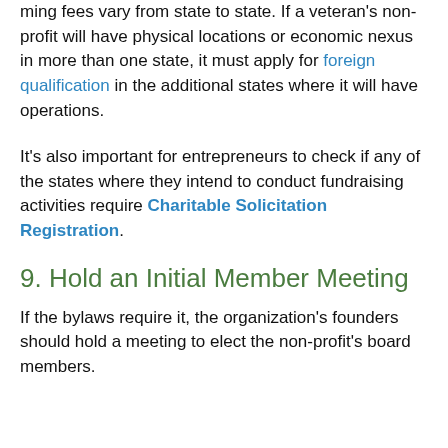ming fees vary from state to state. If a veteran's non-profit will have physical locations or economic nexus in more than one state, it must apply for foreign qualification in the additional states where it will have operations.
It's also important for entrepreneurs to check if any of the states where they intend to conduct fundraising activities require Charitable Solicitation Registration.
9. Hold an Initial Member Meeting
If the bylaws require it, the organization's founders should hold a meeting to elect the non-profit's board members.